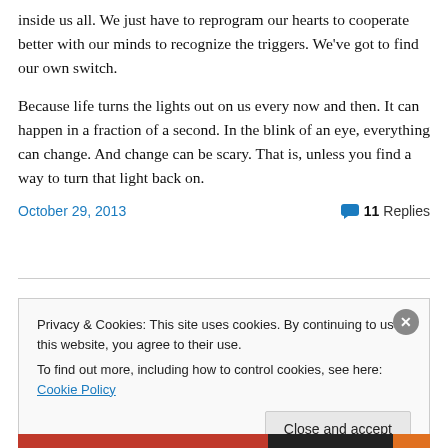inside us all. We just have to reprogram our hearts to cooperate better with our minds to recognize the triggers. We've got to find our own switch.
Because life turns the lights out on us every now and then. It can happen in a fraction of a second. In the blink of an eye, everything can change. And change can be scary. That is, unless you find a way to turn that light back on.
October 29, 2013    11 Replies
Privacy & Cookies: This site uses cookies. By continuing to use this website, you agree to their use. To find out more, including how to control cookies, see here: Cookie Policy